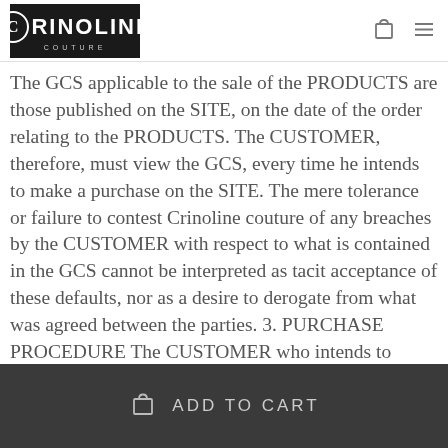Crinoline Couture
The GCS applicable to the sale of the PRODUCTS are those published on the SITE, on the date of the order relating to the PRODUCTS. The CUSTOMER, therefore, must view the GCS, every time he intends to make a purchase on the SITE. The mere tolerance or failure to contest Crinoline couture of any breaches by the CUSTOMER with respect to what is contained in the GCS cannot be interpreted as tacit acceptance of these defaults, nor as a desire to derogate from what was agreed between the parties. 3. PURCHASE PROCEDURE The CUSTOMER who intends to proceed with the
Add to cart